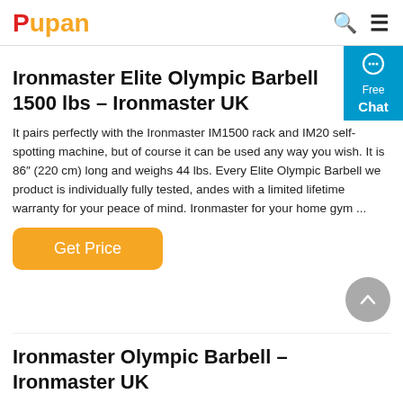Pupan
Ironmaster Elite Olympic Barbell 1500 lbs – Ironmaster UK
It pairs perfectly with the Ironmaster IM1500 rack and IM20 self-spotting machine, but of course it can be used any way you wish. It is 86″ (220 cm) long and weighs 44 lbs. Every Elite Olympic Barbell we product is individually fully tested, andes with a limited lifetime warranty for your peace of mind. Ironmaster for your home gym ...
Ironmaster Olympic Barbell – Ironmaster UK